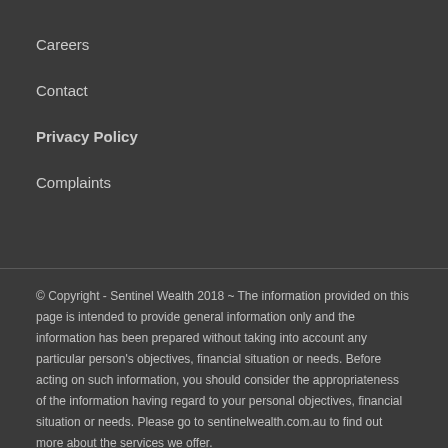Careers
Contact
Privacy Policy
Complaints
© Copyright - Sentinel Wealth 2018 ~ The information provided on this page is intended to provide general information only and the information has been prepared without taking into account any particular person's objectives, financial situation or needs. Before acting on such information, you should consider the appropriateness of the information having regard to your personal objectives, financial situation or needs. Please go to sentinelwealth.com.au to find out more about the services we offer.